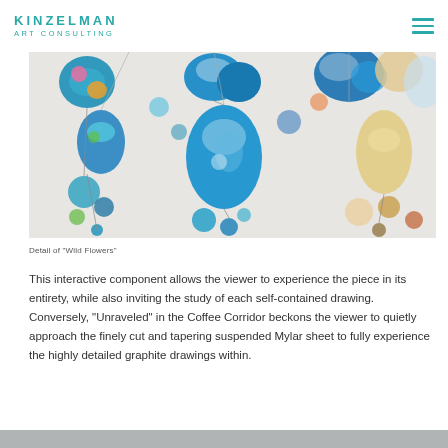KINZELMAN ART CONSULTING
[Figure (photo): Close-up photo of colorful decorative hanging elements with blue and white floral patterns, resembling art installation 'Wild Flowers']
Detail of "Wild Flowers"
This interactive component allows the viewer to experience the piece in its entirety, while also inviting the study of each self-contained drawing. Conversely, "Unraveled" in the Coffee Corridor beckons the viewer to quietly approach the finely cut and tapering suspended Mylar sheet to fully experience the highly detailed graphite drawings within.